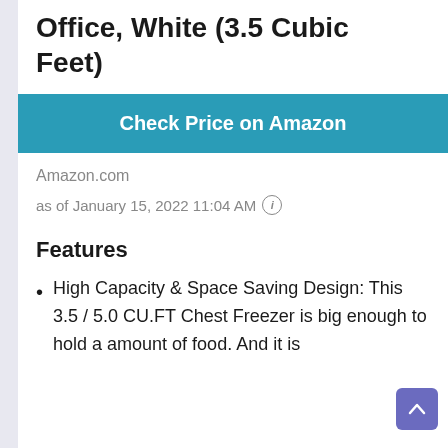Office, White (3.5 Cubic Feet)
Check Price on Amazon
Amazon.com
as of January 15, 2022 11:04 AM
Features
High Capacity & Space Saving Design: This 3.5 / 5.0 CU.FT Chest Freezer is big enough to hold a amount of food. And it is ideal for small amounts